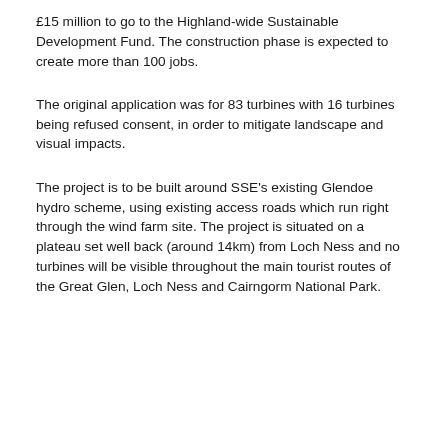£15 million to go to the Highland-wide Sustainable Development Fund. The construction phase is expected to create more than 100 jobs.
The original application was for 83 turbines with 16 turbines being refused consent, in order to mitigate landscape and visual impacts.
The project is to be built around SSE's existing Glendoe hydro scheme, using existing access roads which run right through the wind farm site. The project is situated on a plateau set well back (around 14km) from Loch Ness and no turbines will be visible throughout the main tourist routes of the Great Glen, Loch Ness and Cairngorm National Park.